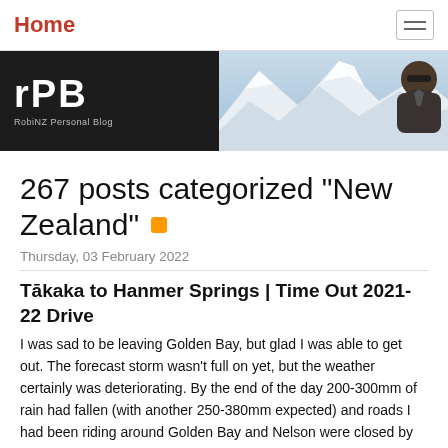Home
[Figure (photo): Blog banner with RPB logo (RobiNZ Personal Blog) on dark background left side, and a snowy mountain landscape with a person wearing sunglasses on the right side.]
267 posts categorized "New Zealand"
Thursday, 03 February 2022
Tākaka to Hanmer Springs | Time Out 2021-22 Drive
I was sad to be leaving Golden Bay, but glad I was able to get out. The forecast storm wasn't full on yet, but the weather certainly was deteriorating. By the end of the day 200-300mm of rain had fallen (with another 250-380mm expected) and roads I had been riding around Golden Bay and Nelson were closed by the storm. On top of that, ten days later Cyclone Dovi struck NZ causing widespread damage. I was heading to Picton by the next day ...